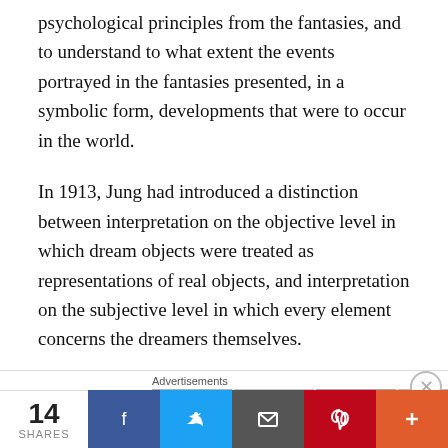psychological principles from the fantasies, and to understand to what extent the events portrayed in the fantasies presented, in a symbolic form, developments that were to occur in the world.
In 1913, Jung had introduced a distinction between interpretation on the objective level in which dream objects were treated as representations of real objects, and interpretation on the subjective level in which every element concerns the dreamers themselves.
As well as interpreting his fantasies on the subjective level, one could characterize his procedure here as an
Advertisements
14 SHARES